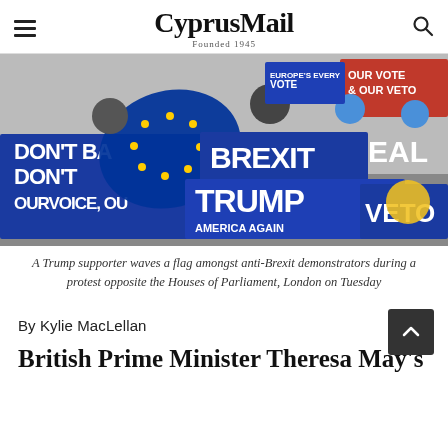CyprusMail — Founded 1945
[Figure (photo): A Trump supporter waves an EU flag among anti-Brexit demonstrators holding banners reading 'Brexit', 'Trump', 'Our Vote & Our Veto', 'Don't Back', 'Our Voice' during a protest opposite the Houses of Parliament, London on Tuesday]
A Trump supporter waves a flag amongst anti-Brexit demonstrators during a protest opposite the Houses of Parliament, London on Tuesday
By Kylie MacLellan
British Prime Minister Theresa May's